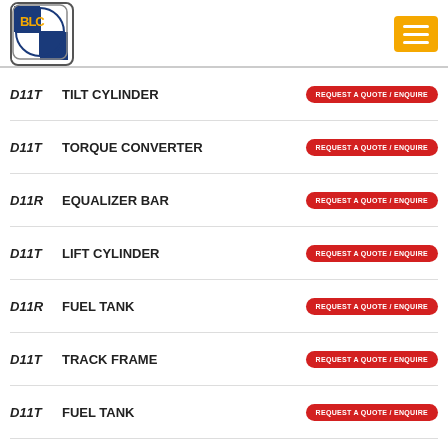[Figure (logo): BLC company logo — blue and white quartered circle with gold BLC letters, rounded square border]
D11T | TILT CYLINDER | REQUEST A QUOTE / ENQUIRE
D11T | TORQUE CONVERTER | REQUEST A QUOTE / ENQUIRE
D11R | EQUALIZER BAR | REQUEST A QUOTE / ENQUIRE
D11T | LIFT CYLINDER | REQUEST A QUOTE / ENQUIRE
D11R | FUEL TANK | REQUEST A QUOTE / ENQUIRE
D11T | TRACK FRAME | REQUEST A QUOTE / ENQUIRE
D11T | FUEL TANK | REQUEST A QUOTE / ENQUIRE
D11T | STEERING CLUTCH | REQUEST A QUOTE / ENQUIRE
D11T | PUSH ARM | REQUEST A QUOTE / ENQUIRE
D11T | CAB | REQUEST A QUOTE / ENQUIRE